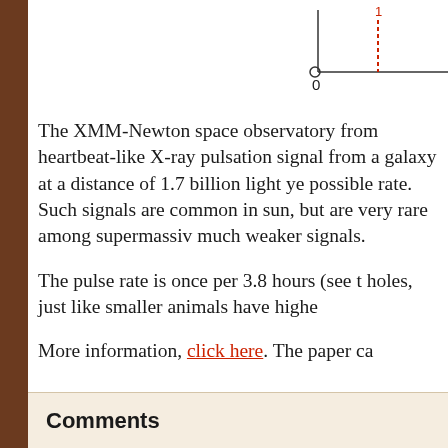[Figure (continuous-plot): Partial view of a plot showing axes with a red vertical line labeled '1' and a '0' tick on x-axis, with a small circle at origin area.]
The XMM-Newton space observatory from heartbeat-like X-ray pulsation signal from a galaxy at a distance of 1.7 billion light years possible rate. Such signals are common in sun, but are very rare among supermassive much weaker signals.
The pulse rate is once per 3.8 hours (see t holes, just like smaller animals have higher
More information, click here. The paper ca
Comments